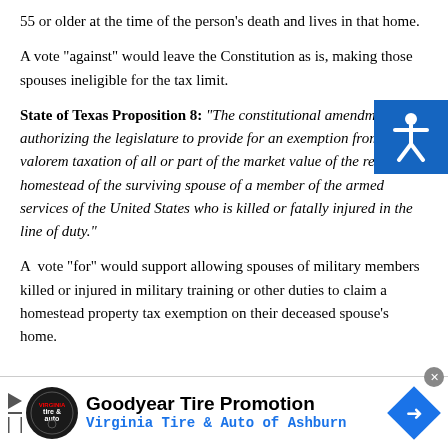55 or older at the time of the person’s death and lives in that home.
A vote “against” would leave the Constitution as is, making those spouses ineligible for the tax limit.
State of Texas Proposition 8: “The constitutional amendment authorizing the legislature to provide for an exemption from ad valorem taxation of all or part of the market value of the residence homestead of the surviving spouse of a member of the armed services of the United States who is killed or fatally injured in the line of duty.”
A vote “for” would support allowing spouses of military members killed or injured in military training or other duties to claim a homestead property tax exemption on their deceased spouse’s home.
[Figure (logo): Goodyear tire promotion advertisement for Virginia Tire & Auto of Ashburn with logo and blue diamond arrow icon]